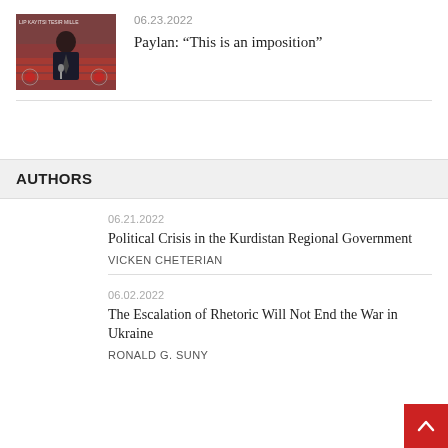[Figure (photo): Thumbnail photo of a man in a suit standing at a podium in a parliament chamber, with red parliamentary seating visible in background. Text overlay reads 'LIP KAYITSI TESIR MILLE']
06.23.2022
Paylan: “This is an imposition”
AUTHORS
06.21.2022
Political Crisis in the Kurdistan Regional Government
VICKEN CHETERIAN
06.02.2022
The Escalation of Rhetoric Will Not End the War in Ukraine
RONALD G. SUNY